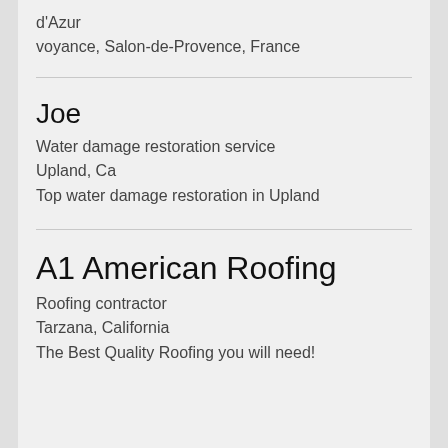d'Azur
voyance, Salon-de-Provence, France
Joe
Water damage restoration service
Upland, Ca
Top water damage restoration in Upland
A1 American Roofing
Roofing contractor
Tarzana, California
The Best Quality Roofing you will need!